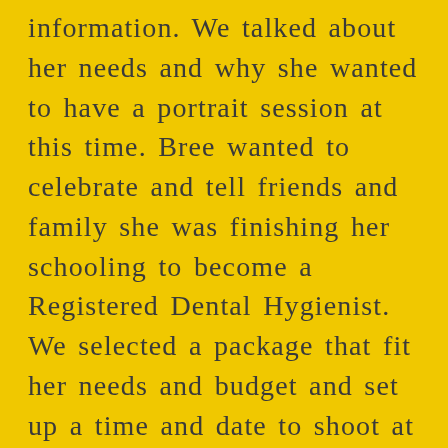information. We talked about her needs and why she wanted to have a portrait session at this time. Bree wanted to celebrate and tell friends and family she was finishing her schooling to become a Registered Dental Hygienist. We selected a package that fit her needs and budget and set up a time and date to shoot at Tumbleweed Ranch.